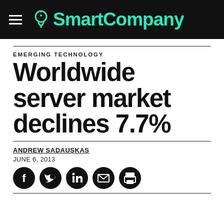SmartCompany
EMERGING TECHNOLOGY
Worldwide server market declines 7.7%
ANDREW SADAUSKAS
JUNE 6, 2013